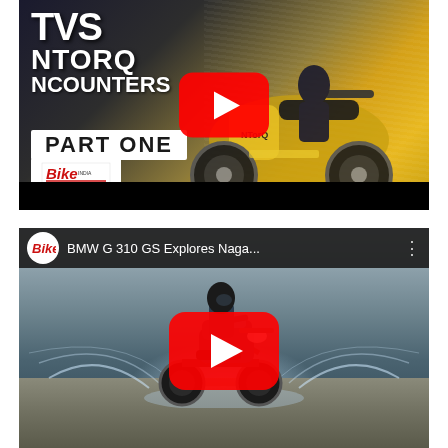[Figure (screenshot): YouTube video thumbnail for TVS NTORQ Encounters Part One, showing a scooter rider in motion on a yellow TVS NTORQ scooter, with overlay text 'TVS NTORQ NCOUNTERS PART ONE' and Bike India logo, with a red YouTube play button]
[Figure (screenshot): YouTube video thumbnail for 'BMW G 310 GS Explores Naga...' showing a motorcycle riding through water splash on rocky terrain, with Bike India channel logo and title in top bar, and a large red YouTube play button]